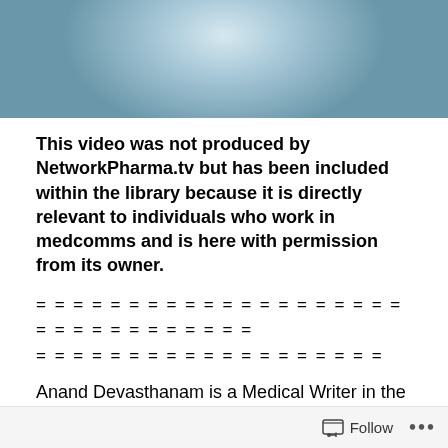[Figure (photo): Top portion of a person wearing a light blue shirt outdoors, partially cropped]
This video was not produced by NetworkPharma.tv but has been included within the library because it is directly relevant to individuals who work in medcomms and is here with permission from its owner.
= = = = = = = = = = = = = = = = = = = = = = = = = = = = = = = =
= = = = = = = = = = = = = = = = = = =
Anand Devasthanam is a Medical Writer in the USA, but is posting these videos in his personal capacity. Any views expressed are his alone and do not necessarily reflect the opinion of his employer.
Follow ...